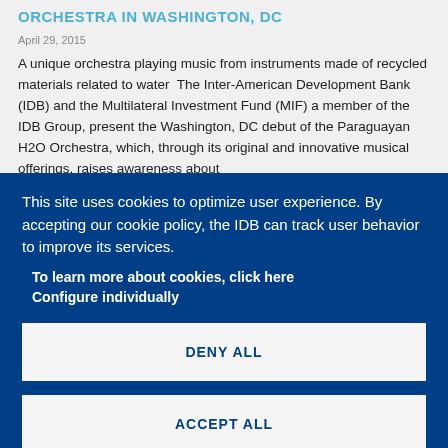ORCHESTRA IN WASHINGTON, DC
April 29, 2015
A unique orchestra playing music from instruments made of recycled materials related to water  The Inter-American Development Bank (IDB) and the Multilateral Investment Fund (MIF) a member of the IDB Group, present the Washington, DC debut of the Paraguayan H2O Orchestra, which, through its original and innovative musical offerings, raises awareness about
This site uses cookies to optimize user experience. By accepting our cookie policy, the IDB can track user behavior to improve its services.
To learn more about cookies, click here
Configure individually
DENY ALL
ACCEPT ALL